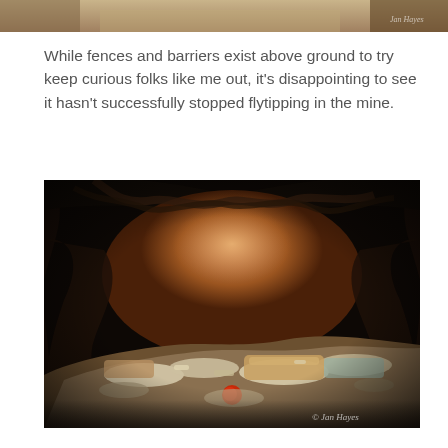[Figure (photo): Partial view of a previous photograph at the top of the page, cropped — appears to show a rocky outdoor scene]
While fences and barriers exist above ground to try keep curious folks like me out, it's disappointing to see it hasn't successfully stopped flytipping in the mine.
[Figure (photo): Interior view of a mine tunnel showing a pile of illegally dumped rubbish/trash including bottles and debris inside a dark rocky cave-like space. Watermark reads '© Jan Hayes'.]